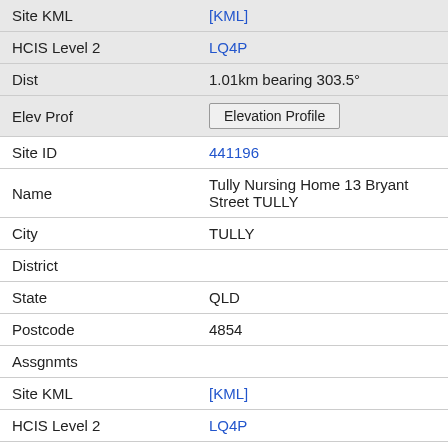| Field | Value |
| --- | --- |
| Site KML | [KML] |
| HCIS Level 2 | LQ4P |
| Dist | 1.01km bearing 303.5° |
| Elev Prof | Elevation Profile |
| Site ID | 441196 |
| Name | Tully Nursing Home 13 Bryant Street TULLY |
| City | TULLY |
| District |  |
| State | QLD |
| Postcode | 4854 |
| Assgnmts |  |
| Site KML | [KML] |
| HCIS Level 2 | LQ4P |
| Dist | 1.15km bearing 317.7° |
| Elev Prof | Elevation Profile |
| Site ID | 37068 |
| Name | Telstra Radio Terminal Henry St TULLY |